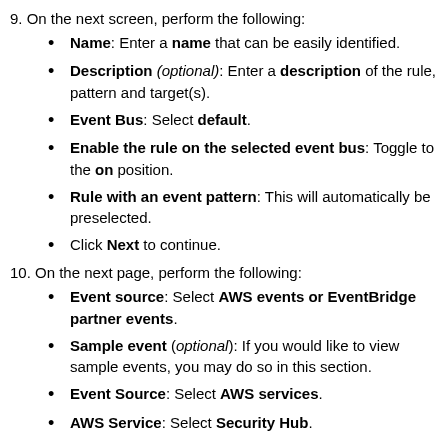9. On the next screen, perform the following:
Name: Enter a name that can be easily identified.
Description (optional): Enter a description of the rule, pattern and target(s).
Event Bus: Select default.
Enable the rule on the selected event bus: Toggle to the on position.
Rule with an event pattern: This will automatically be preselected.
Click Next to continue.
10. On the next page, perform the following:
Event source: Select AWS events or EventBridge partner events.
Sample event (optional): If you would like to view sample events, you may do so in this section.
Event Source: Select AWS services.
AWS Service: Select Security Hub.